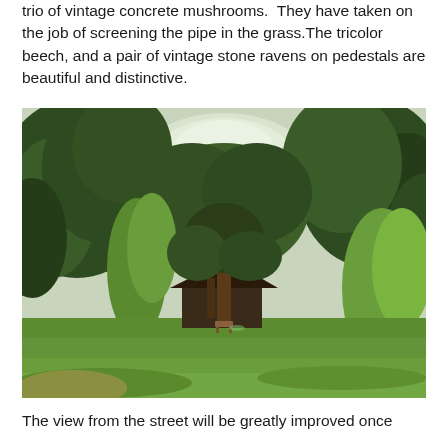trio of vintage concrete mushrooms.  They have taken on the job of screening the pipe in the grass.The tricolor beech, and a pair of vintage stone ravens on pedestals are beautiful and distinctive.
[Figure (photo): A lush garden scene with large mature trees surrounding a small dark-roofed structure or outbuilding. The foreground is a wide open green lawn. Trees with dense green foliage frame the scene on all sides, with lighter sky visible through the canopy in the center.]
The view from the street will be greatly improved once